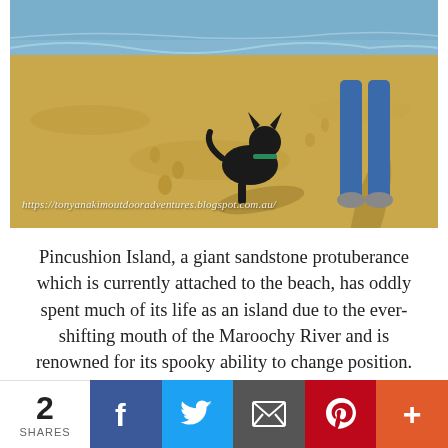[Figure (photo): A black dog sitting on a sandy beach next to a person's legs wearing blue jeans and shoes. The ocean waves are visible in the background. Footprints are in the sand. A watermark URL reads https://tonyanakimoutdooradventures.blogspot.com.au/]
Pincushion Island, a giant sandstone protuberance which is currently attached to the beach, has oddly spent much of its life as an island due to the ever-shifting mouth of the Maroochy River and is renowned for its spooky ability to change position. A fantastic exploratory spot for children, it's climbable by a couple of paths, with a grass patch,
2 SHARES | Facebook | Twitter | Email | Pinterest | More